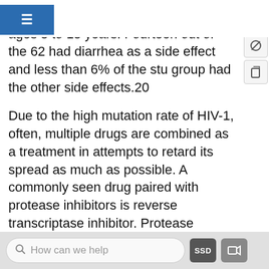on a study of 62 HIV infected children ages 3 to 13 years. Fourteen out of the 62 had diarrhea as a side effect and less than 6% of the study group had the other side effects.20
Due to the high mutation rate of HIV-1, often, multiple drugs are combined as a treatment in attempts to retard its spread as much as possible. A commonly seen drug paired with protease inhibitors is reverse transcriptase inhibitor. Protease inhibitors prevents the protease transcribed by the gag-pol gene and reverse transcriptase inhibitors prevents the reverse transcriptase transcribed by the pol gene. This combination targets two essential proteins that have been shown to stop HIV-1’s life cycle if these genes
How can we help